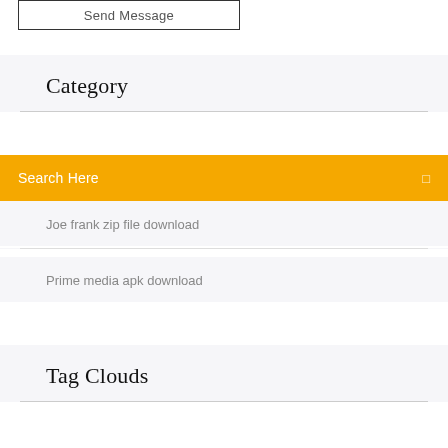Send Message
Category
Search Here
Joe frank zip file download
Prime media apk download
Tag Clouds